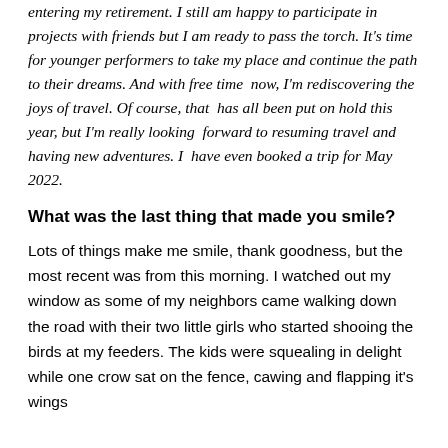entering my retirement. I still am happy to participate in projects with friends but I am ready to pass the torch. It's time for younger performers to take my place and continue the path to their dreams. And with free time now, I'm rediscovering the joys of travel. Of course, that has all been put on hold this year, but I'm really looking forward to resuming travel and having new adventures. I have even booked a trip for May 2022.
What was the last thing that made you smile?
Lots of things make me smile, thank goodness, but the most recent was from this morning. I watched out my window as some of my neighbors came walking down the road with their two little girls who started shooing the birds at my feeders. The kids were squealing in delight while one crow sat on the fence, cawing and flapping it's wings